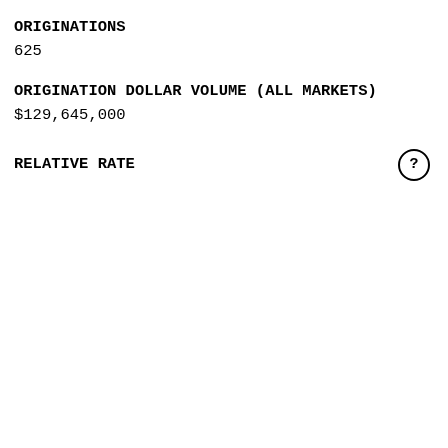ORIGINATIONS
625
ORIGINATION DOLLAR VOLUME (ALL MARKETS)
$129,645,000
RELATIVE RATE